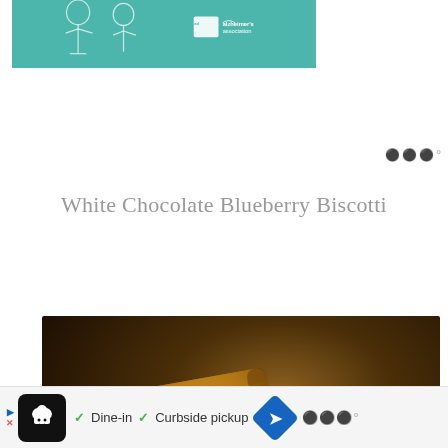[Figure (photo): Advertisement banner: Alzheimer's Association ad with illustrated characters on teal background]
White Chocolate Blueberry Biscotti
[Figure (photo): Close-up photo of a biscotti cookie standing upright, with heart/like (424) and share buttons on the right side, and a 'What's Next' overlay showing Cranberry White... recipe]
[Figure (photo): Bottom advertisement banner with chef logo, Dine-in and Curbside pickup options, navigation arrow icon, and WW logo]